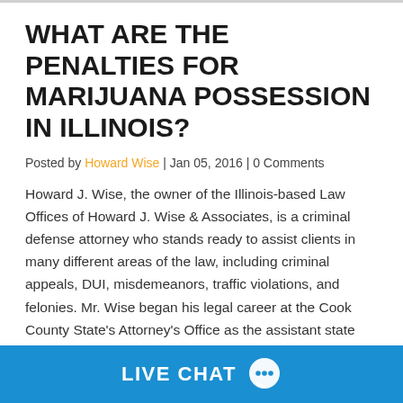WHAT ARE THE PENALTIES FOR MARIJUANA POSSESSION IN ILLINOIS?
Posted by Howard Wise | Jan 05, 2016 | 0 Comments
Howard J. Wise, the owner of the Illinois-based Law Offices of Howard J. Wise & Associates, is a criminal defense attorney who stands ready to assist clients in many different areas of the law, including criminal appeals, DUI, misdemeanors, traffic violations, and felonies. Mr. Wise began his legal career at the Cook County State's Attorney's Office as the assistant state attorney, where he was able to gain unique prosecutorial experience. He then transitioned to criminal defense and
LIVE CHAT